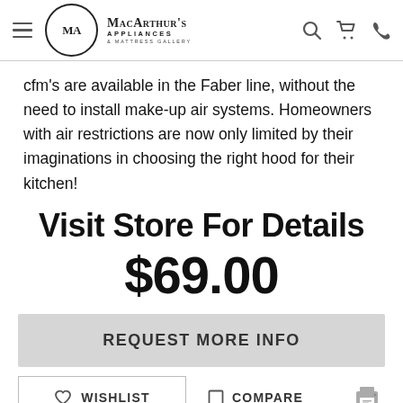MacArthur's Appliances & Mattress Gallery
cfm's are available in the Faber line, without the need to install make-up air systems. Homeowners with air restrictions are now only limited by their imaginations in choosing the right hood for their kitchen!
Visit Store For Details
$69.00
REQUEST MORE INFO
WISHLIST
COMPARE